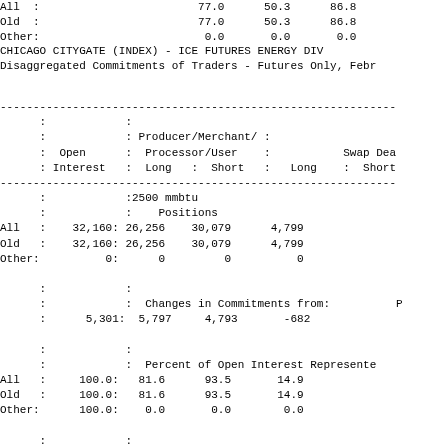|  | Open Interest | Prod/Merch Long | Prod/Merch Short | Swap Dealer Long | Swap Dealer Short |
| --- | --- | --- | --- | --- | --- |
| All | 77.0 | 50.3 | 86.8 |  |  |
| Old | 77.0 | 50.3 | 86.8 |  |  |
| Other | 0.0 | 0.0 | 0.0 |  |  |
CHICAGO CITYGATE (INDEX) - ICE FUTURES ENERGY DIV
Disaggregated Commitments of Traders - Futures Only, Febr
|  | Open Interest | Producer/Merchant/Processor/User Long | Producer/Merchant/Processor/User Short | Swap Dealer Long | Swap Dealer Short |
| --- | --- | --- | --- | --- | --- |
|  |  | 2500 mmbtu |  |  |  |
|  |  | Positions |  |  |  |
| All | 32,160 | 26,256 | 30,079 | 4,799 |  |
| Old | 32,160 | 26,256 | 30,079 | 4,799 |  |
| Other | 0 | 0 | 0 | 0 |  |
|  |  | Changes in Commitments from: |  |  |  |
|  | 5,301 | 5,797 | 4,793 | -682 |  |
|  |  | Percent of Open Interest Represented |  |  |  |
| All | 100.0 | 81.6 | 93.5 | 14.9 |  |
| Old | 100.0 | 81.6 | 93.5 | 14.9 |  |
| Other | 100.0 | 0.0 | 0.0 | 0.0 |  |
|  |  | Number of Traders in Each Category |  |  |  |
| All | 31 | 12 | 15 | . |  |
| Old | 31 | 12 | 15 | . |  |
| Other | 0 | 0 | 0 | 0 |  |